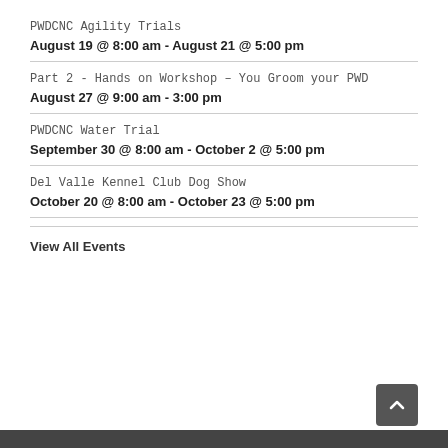PWDCNC Agility Trials
August 19 @ 8:00 am - August 21 @ 5:00 pm
Part 2 - Hands on Workshop – You Groom your PWD
August 27 @ 9:00 am - 3:00 pm
PWDCNC Water Trial
September 30 @ 8:00 am - October 2 @ 5:00 pm
Del Valle Kennel Club Dog Show
October 20 @ 8:00 am - October 23 @ 5:00 pm
View All Events